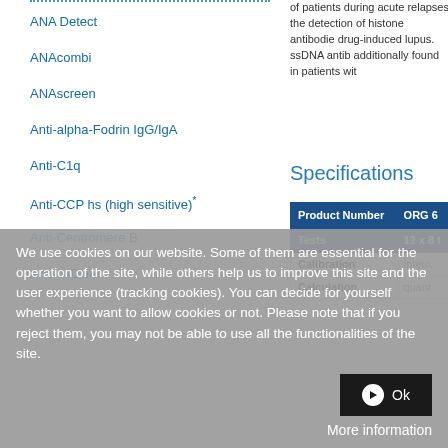ANA Detect
ANAcombi
ANAscreen
Anti-alpha-Fodrin IgG/IgA
Anti-C1q
Anti-CCP hs (high sensitive)*
Anti-Centromere B
Anti-dsDNA
of patients during acute relapses the detection of histone antibodie drug-induced lupus. ssDNA antib additionally found in patients wit
Specifications
| Product Number | ORG 6 |
| --- | --- |
| Tests | 12 x 8 t |
| Calibration | intern |
| Calculation | quant |
We use cookies on our website. Some of them are essential for the operation of the site, while others help us to improve this site and the user experience (tracking cookies). You can decide for yourself whether you want to allow cookies or not. Please note that if you reject them, you may not be able to use all the functionalities of the site.
Ok
More information